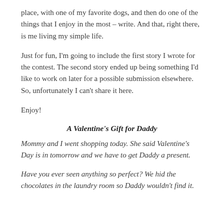place, with one of my favorite dogs, and then do one of the things that I enjoy in the most – write. And that, right there, is me living my simple life.
Just for fun, I'm going to include the first story I wrote for the contest. The second story ended up being something I'd like to work on later for a possible submission elsewhere. So, unfortunately I can't share it here.
Enjoy!
A Valentine's Gift for Daddy
Mommy and I went shopping today. She said Valentine's Day is in tomorrow and we have to get Daddy a present.
Have you ever seen anything so perfect? We hid the chocolates in the laundry room so Daddy wouldn't find it.